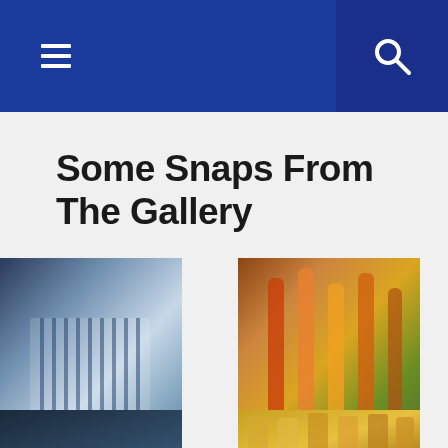Navigation bar with hamburger menu and search icon
Some Snaps From The Gallery
[Figure (photo): Photo of striped blue and white shirts hanging in a wardrobe]
[Figure (photo): Close-up photo of colorful drinking straws or glass objects with blurred background]
[Figure (photo): Partial photo of dark interior, bottom row left]
[Figure (photo): Partial photo of golden/amber colored objects, bottom row right]